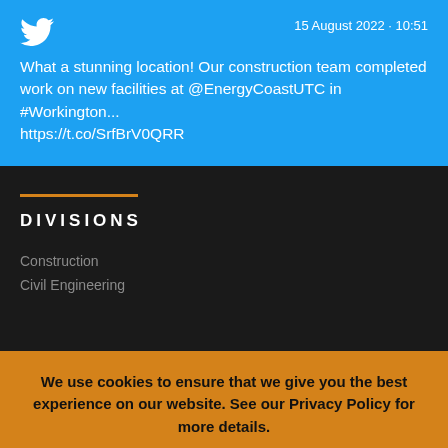[Figure (logo): Twitter bird logo icon in white]
15 August 2022 · 10:51
What a stunning location! Our construction team completed work on new facilities at @EnergyCoastUTC in #Workington... https://t.co/SrfBrV0QRR
DIVISIONS
Construction
Civil Engineering
We use cookies to ensure that we give you the best experience on our website. See our Privacy Policy for more details.
OK